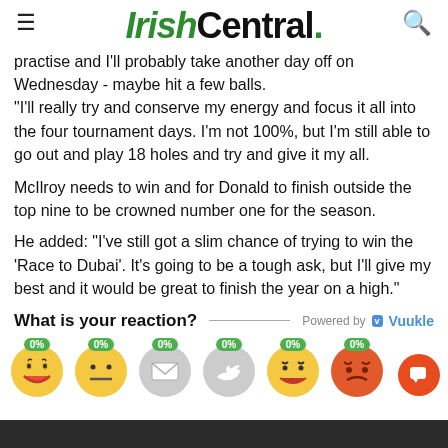IrishCentral.
practise and I'll probably take another day off on Wednesday - maybe hit a few balls.
"I'll really try and conserve my energy and focus it all into the four tournament days. I'm not 100%, but I'm still able to go out and play 18 holes and try and give it my all.
McIlroy needs to win and for Donald to finish outside the top nine to be crowned number one for the season.
He added: "I've still got a slim chance of trying to win the 'Race to Dubai'. It's going to be a tough ask, but I'll give my best and it would be great to finish the year on a high."
What is your reaction?
[Figure (infographic): Vuukle emoji reaction widget with six emoji faces each showing 0% and social share icons (Facebook, email, Twitter, Pinterest, WhatsApp, plus)]